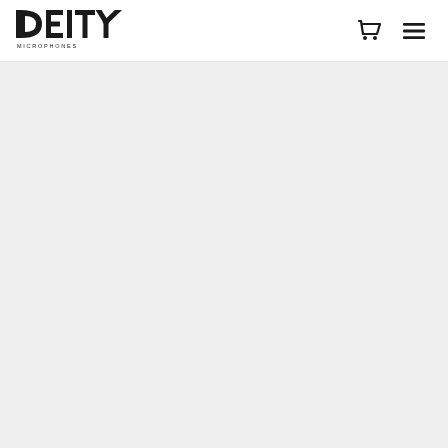[Figure (logo): Deity Microphones logo — bold black uppercase 'DEITY' with spaced 'MICROPHONES' subtitle]
[Figure (other): Shopping cart icon, black outline]
[Figure (other): Hamburger menu icon, three horizontal lines]
[Figure (other): Large light grey content area below the header, mostly empty]